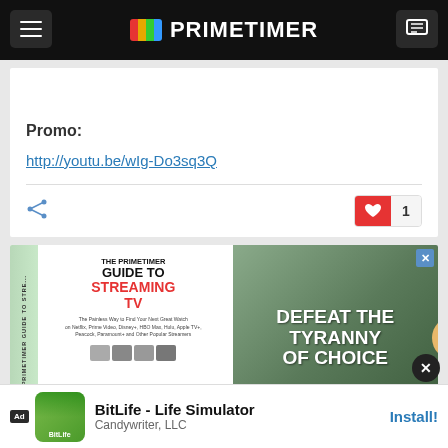PRIMETIMER
Promo:
http://youtu.be/wIg-Do3sq3Q
[Figure (advertisement): The Primetimer Guide to Streaming TV book advertisement. Left side shows book cover with title 'THE PRIMETIMER GUIDE TO STREAMING TV - The Painless Way to Find Your Next Great Watch on Netflix, Prime Video, Disney+, HBO Max, Hulu, Apple TV+, Peacock, Paramount+ and Other Popular Streamers'. Right side shows dark background with text 'DEFEAT THE TYRANNY OF CHOICE' and 'IN BOOKSTORES'.]
[Figure (advertisement): Mobile app advertisement for BitLife - Life Simulator by Candywriter, LLC with Install button.]